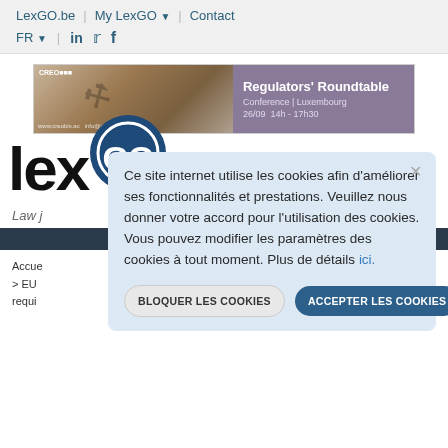LexGO.be | My LexGO | Contact | FR | in | Twitter | Facebook
[Figure (infographic): CREO conference advertisement banner: Regulators' Roundtable, Conference | Luxembourg, 26/09 14h - 17h30]
[Figure (logo): LexGO.lu logo — 'lex' in black bold text, 'GO' in white on dark blue circle, '.lu' in grey]
Law j...
Accue... > EU... requi...
Ce site internet utilise les cookies afin d'améliorer ses fonctionnalités et prestations. Veuillez nous donner votre accord pour l'utilisation des cookies. Vous pouvez modifier les paramètres des cookies à tout moment. Plus de détails ici.
BLOQUER LES COOKIES
ACCEPTER LES COOKIES